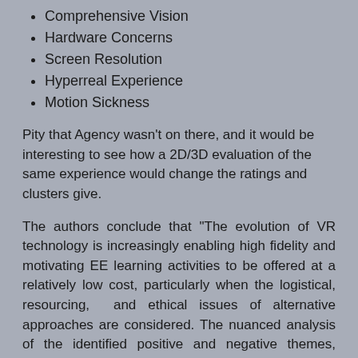Comprehensive Vision
Hardware Concerns
Screen Resolution
Hyperreal Experience
Motion Sickness
Pity that Agency wasn't on there, and it would be interesting to see how a 2D/3D evaluation of the same experience would change the ratings and clusters give.
The authors conclude that "The evolution of VR technology is increasingly enabling high fidelity and motivating EE learning activities to be offered at a relatively low cost, particularly when the logistical, resourcing,  and ethical issues of alternative approaches are considered. The nuanced analysis of the identified positive and negative themes, through the lens of Hassenzahl and Tractinsky's (2006) adapted three UX facets, has provided valuable albeit indicative guidance where to concentrate refinement efforts. However, it is also evident that a great deal of further research on the user experience is required to extend our understanding of full...